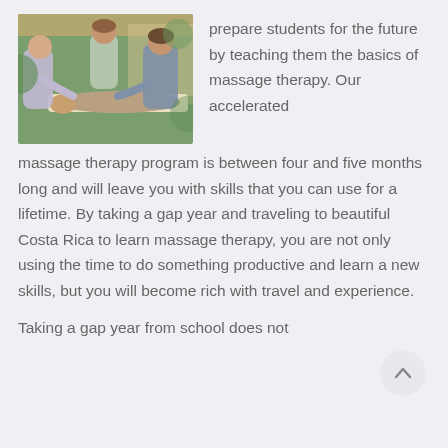[Figure (photo): People performing massage therapy in an outdoor setting. Two practitioners working on a person lying face down on a massage table.]
prepare students for the future by teaching them the basics of massage therapy. Our accelerated massage therapy program is between four and five months long and will leave you with skills that you can use for a lifetime. By taking a gap year and traveling to beautiful Costa Rica to learn massage therapy, you are not only using the time to do something productive and learn a new skills, but you will become rich with travel and experience.
Taking a gap year from school does not